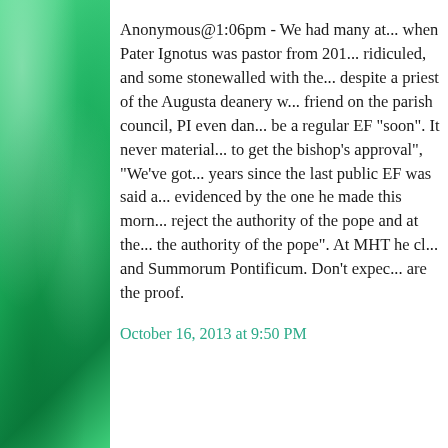Anonymous@1:06pm - We had many attempts when Pater Ignotus was pastor from 201..., ridiculed, and some stonewalled with the..., despite a priest of the Augusta deanery w..., friend on the parish council, PI even dan..., be a regular EF "soon". It never material..., to get the bishop's approval", "We've got..., years since the last public EF was said a..., evidenced by the one he made this morn..., reject the authority of the pope and at the..., the authority of the pope". At MHT he cl..., and Summorum Pontificum. Don't expec..., are the proof.
October 16, 2013 at 9:50 PM